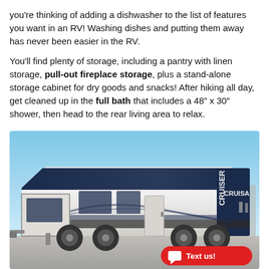you're thinking of adding a dishwasher to the list of features you want in an RV! Washing dishes and putting them away has never been easier in the RV.
You'll find plenty of storage, including a pantry with linen storage, pull-out fireplace storage, plus a stand-alone storage cabinet for dry goods and snacks! After hiking all day, get cleaned up in the full bath that includes a 48″ x 30″ shower, then head to the rear living area to relax.
[Figure (photo): Exterior photo of a Cruiser RV travel trailer parked outdoors under a clear blue sky. The RV is white and dark navy/black with aerodynamic styling. The brand name CRUISER is visible on the rear upper section. A red 'Text us!' button with a chat icon appears in the bottom-right corner of the image.]